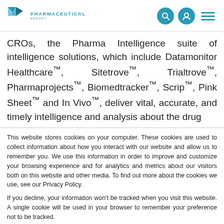PHARMACEUTICAL REPORT
CROs, the Pharma Intelligence suite of intelligence solutions, which include Datamonitor Healthcare™, Sitetrove™, Trialtrove™, Pharmaprojects™, Biomedtracker™, Scrip™, Pink Sheet™ and In Vivo™, deliver vital, accurate, and timely intelligence and analysis about the drug
This website stores cookies on your computer. These cookies are used to collect information about how you interact with our website and allow us to remember you. We use this information in order to improve and customize your browsing experience and for analytics and metrics about our visitors both on this website and other media. To find out more about the cookies we use, see our Privacy Policy.
If you decline, your information won't be tracked when you visit this website. A single cookie will be used in your browser to remember your preference not to be tracked.
Accept | Decline